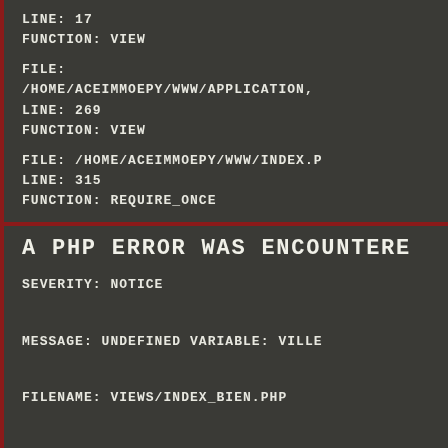LINE: 17
FUNCTION: VIEW

FILE:
/HOME/ACEIMMOEPY/WWW/APPLICATION,
LINE: 269
FUNCTION: VIEW

FILE: /HOME/ACEIMMOEPY/WWW/INDEX.P
LINE: 315
FUNCTION: REQUIRE_ONCE
A PHP ERROR WAS ENCOUNTERE
SEVERITY: NOTICE

MESSAGE: UNDEFINED VARIABLE: VILLE

FILENAME: VIEWS/INDEX_BIEN.PHP

LINE NUMBER: 189